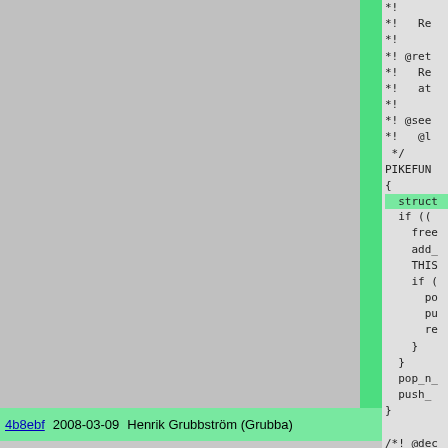[Figure (screenshot): Source code blame view showing commit hashes, dates, authors (Henrik Grubbström (Grubba)), and C/Pike code on the right. Two rows are highlighted: 4b8ebf 2008-03-09 (green) and db628a 2004-09-10 (white/gray). The right panel shows code comments and PIKEFUN block with struct, if statements, free, add_, THIS, pop_n_, push_ tokens.]